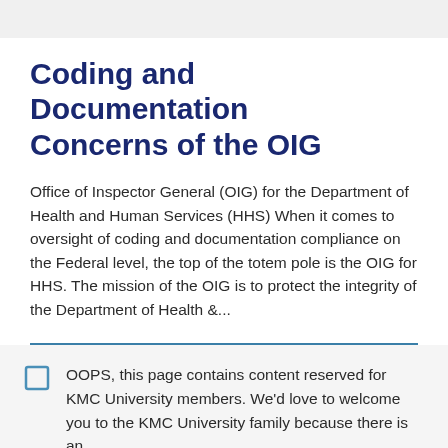Coding and Documentation Concerns of the OIG
Office of Inspector General (OIG) for the Department of Health and Human Services (HHS) When it comes to oversight of coding and documentation compliance on the Federal level, the top of the totem pole is the OIG for HHS. The mission of the OIG is to protect the integrity of the Department of Health &...
OOPS, this page contains content reserved for KMC University members. We'd love to welcome you to the KMC University family because there is an